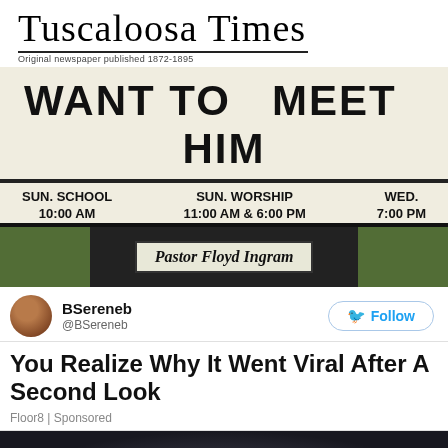Tuscaloosa Times
Original newspaper published 1872-1895
[Figure (photo): Church sign reading 'WANT TO MEET HIM' with schedule: SUN. SCHOOL 10:00 AM, SUN. WORSHIP 11:00 AM & 6:00 PM, WED. 7:00 PM. Below is a black panel with grass on sides and a box reading 'Pastor Floyd Ingram']
BSereneb @BSereneb [Follow button]
You Realize Why It Went Viral After A Second Look
Floor8 | Sponsored
[Figure (photo): Dark photo partially visible at bottom of page]